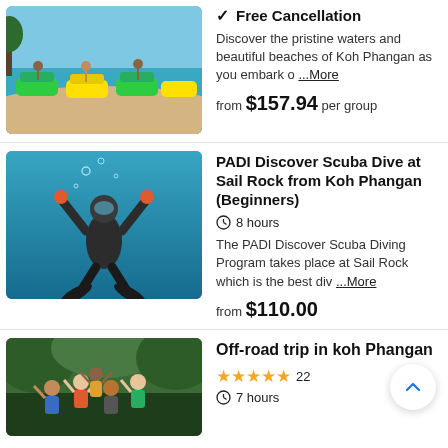[Figure (photo): People on jet skis on a beach with turquoise water]
✓ Free Cancellation
Discover the pristine waters and beautiful beaches of Koh Phangan as you embark o ...More
from $157.94 per group
[Figure (photo): Scuba diver underwater with arms raised, wearing fins]
PADI Discover Scuba Dive at Sail Rock from Koh Phangan (Beginners)
8 hours
The PADI Discover Scuba Diving Program takes place at Sail Rock which is the best div ...More
from $110.00
[Figure (photo): Group of people with arms raised in a jungle/forest setting]
Off-road trip in koh Phangan
★★★★★ 22
7 hours